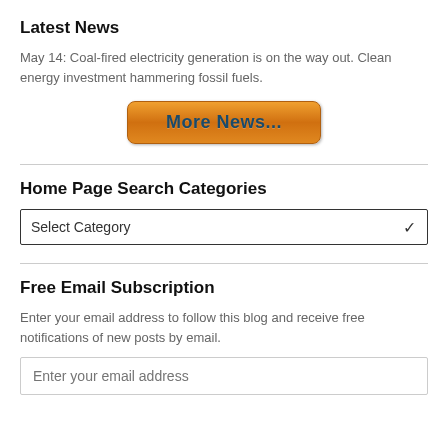Latest News
May 14: Coal-fired electricity generation is on the way out. Clean energy investment hammering fossil fuels.
[Figure (other): Orange gradient button labeled 'More News...']
Home Page Search Categories
Select Category (dropdown)
Free Email Subscription
Enter your email address to follow this blog and receive free notifications of new posts by email.
Enter your email address